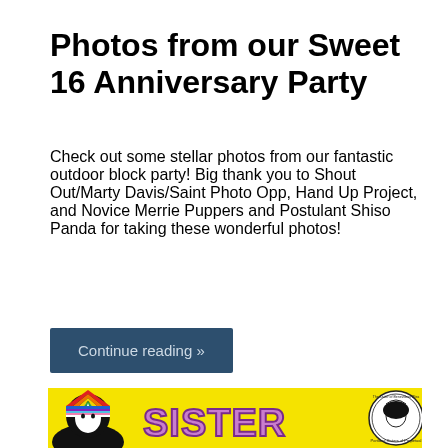Photos from our Sweet 16 Anniversary Party
Check out some stellar photos from our fantastic outdoor block party! Big thank you to Shout Out/Marty Davis/Saint Photo Opp, Hand Up Project, and Novice Merrie Puppers and Postulant Shiso Panda for taking these wonderful photos!
Continue reading »
[Figure (illustration): Colorful illustration on yellow background showing a nun figure with a rainbow-colored headdress on the left, large purple bubbly 'SISTER' text in the center, and a circular Portland Sisters of Perpetual Indulgence logo on the right.]